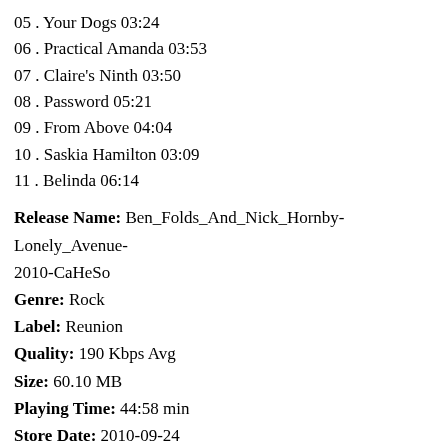05 . Your Dogs 03:24
06 . Practical Amanda 03:53
07 . Claire's Ninth 03:50
08 . Password 05:21
09 . From Above 04:04
10 . Saskia Hamilton 03:09
11 . Belinda 06:14
Release Name: Ben_Folds_And_Nick_Hornby-Lonely_Avenue-2010-CaHeSo
Genre: Rock
Label: Reunion
Quality: 190 Kbps Avg
Size: 60.10 MB
Playing Time: 44:58 min
Store Date: 2010-09-24
Links: NFO – Torrent Search
http://www.fileserve.com/file/FwG3kPg/Ben_Folds_And_Nick_Hornby-Lonely_Avenue-2010-CaHeSo.rar
OR
http://hotfile.com/dl/72759575/6ff453f/Ben_Folds_And_Nick_Hornby-Lonely_Avenue-2010-CaHeSo.rar.html